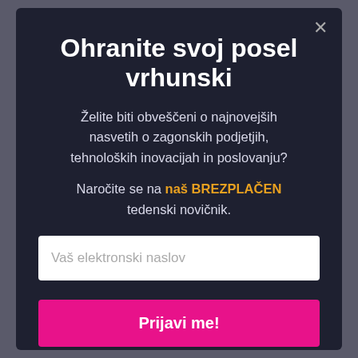Ohranite svoj posel vrhunski
Želite biti obveščeni o najnovejših nasvetih o zagonskih podjetjih, tehnoloških inovacijah in poslovanju?
Naročite se na naš BREZPLAČEN tedenski novičnik.
Vaš elektronski naslov
Prijavi me!